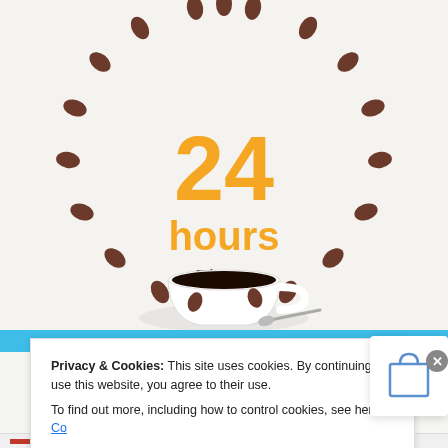[Figure (illustration): Product advertisement image: large orange '24 hours' text centered, with 'Timer' subtitle below, surrounded by an oval arrangement of coffee beans on a light gray/white background. A white coffee cup filled with black coffee sits at the bottom center, with coffee beans scattered around it.]
Privacy & Cookies: This site uses cookies. By continuing to use this website, you agree to their use.
To find out more, including how to control cookies, see here: Co...
Close a...